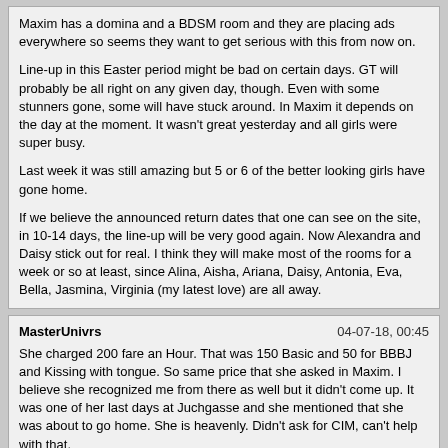Maxim has a domina and a BDSM room and they are placing ads everywhere so seems they want to get serious with this from now on.

Line-up in this Easter period might be bad on certain days. GT will probably be all right on any given day, though. Even with some stunners gone, some will have stuck around. In Maxim it depends on the day at the moment. It wasn't great yesterday and all girls were super busy.

Last week it was still amazing but 5 or 6 of the better looking girls have gone home.

If we believe the announced return dates that one can see on the site, in 10-14 days, the line-up will be very good again. Now Alexandra and Daisy stick out for real. I think they will make most of the rooms for a week or so at least, since Alina, Aisha, Ariana, Daisy, Antonia, Eva, Bella, Jasmina, Virginia (my latest love) are all away.
MasterUnivrs    04-07-18, 00:45

She charged 200 fare an Hour. That was 150 Basic and 50 for BBBJ and Kissing with tongue. So same price that she asked in Maxim. I believe she recognized me from there as well but it didn't come up. It was one of her last days at Juchgasse and she mentioned that she was about to go home. She is heavenly. Didn't ask for CIM, can't help with that.

Let's see if she will be back. At the moment she is still listed at Maxim what indicates that she hasn't announced to them that she'd leave, I suppose.Well inspired by your report I had her come over as an escort; I am rather passionate about kissing and consequently was very disappointed when she announced to me that she does not do that.

So either you are quite the charmer MonSooner to get an exception or I must really work on my looks and / or breath.

As always it is frustrating when bitches deny you a pleasure that they do provide to others.